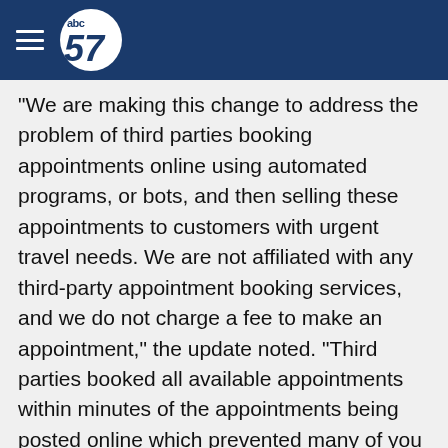abc57 (logo)
"We are making this change to address the problem of third parties booking appointments online using automated programs, or bots, and then selling these appointments to customers with urgent travel needs. We are not affiliated with any third-party appointment booking services, and we do not charge a fee to make an appointment," the update noted. "Third parties booked all available appointments within minutes of the appointments being posted online which prevented many of you from making urgent appointments, and made it difficult to determine whether your appointment was legitimate or fraudulent."
The State Department said it would honor appointments made online prior to 10 p.m. ET on